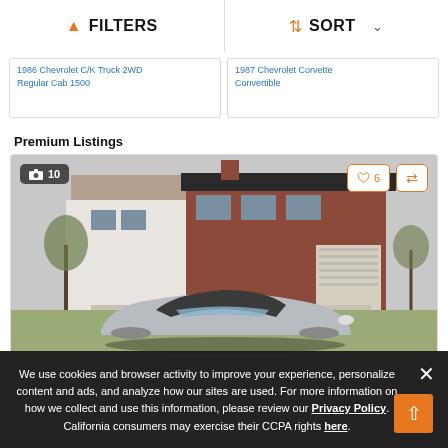FILTERS | SORT
1986 Chevrolet C/K Truck 2WD Regular Cab 1500
1987 Chevrolet Corvette Convertible
Premium Listings
[Figure (photo): Silver Chevrolet Corvette convertible parked in driveway of brick suburban house, photo count badge showing 10, heart/like button showing 6, compare button]
We use cookies and browser activity to improve your experience, personalize content and ads, and analyze how our sites are used. For more information on how we collect and use this information, please review our Privacy Policy. California consumers may exercise their CCPA rights here.